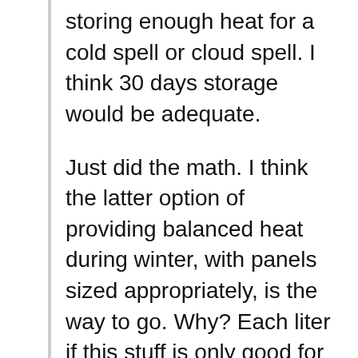storing enough heat for a cold spell or cloud spell. I think 30 days storage would be adequate.
Just did the math. I think the latter option of providing balanced heat during winter, with panels sized appropriately, is the way to go. Why? Each liter if this stuff is only good for ~110Wh thermal! That’s a lot of stuff to maintain your heat reservoir. Here in the Northeast, oil is used for heating a lot, and a 250 gallon tank is pretty common. That’s 1000L, which is good for 110KWh, or 400k BTU. Assume ~35BTU/sq ft for a 2000sq ft home, and that’s enough for ~6 hours of heating! Add another outside